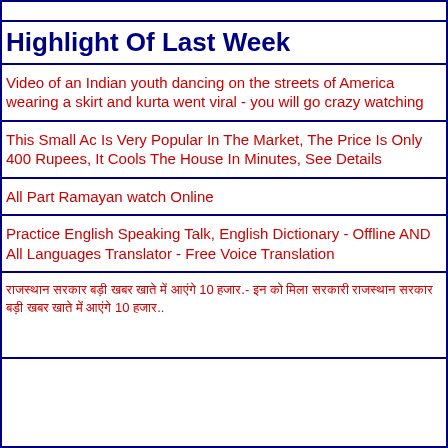Highlight Of Last Week
Video of an Indian youth dancing on the streets of America wearing a skirt and kurta went viral - you will go crazy watching
This Small Ac Is Very Popular In The Market, The Price Is Only 400 Rupees, It Cools The House In Minutes, See Details
All Part Ramayan watch Online
Practice English Speaking Talk, English Dictionary - Offline AND All Languages Translator - Free Voice Translation
राजस्थान सरकार बड़ी खबर खाते में आएंगे 10 हजार.- इन को मिला सरकारी राजस्थान सरकार बड़ी खबर खाते में आएंगे 10 हजार..